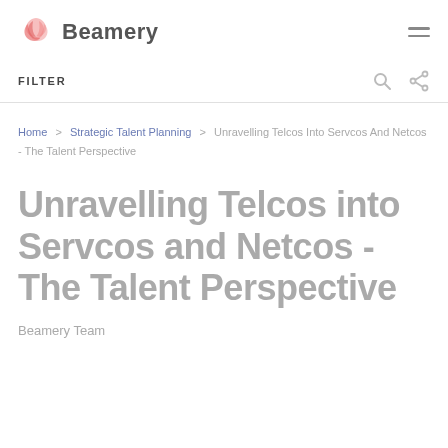Beamery
FILTER
Home > Strategic Talent Planning > Unravelling Telcos Into Servcos And Netcos - The Talent Perspective
Unravelling Telcos into Servcos and Netcos - The Talent Perspective
Beamery Team